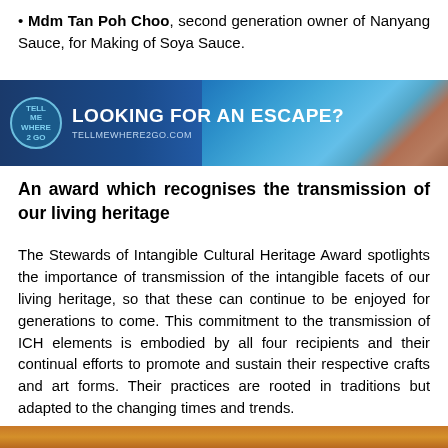Mdm Tan Poh Choo, second generation owner of Nanyang Sauce, for Making of Soya Sauce.
[Figure (other): Advertisement banner for tellmewhere2go.com with text 'LOOKING FOR AN ESCAPE?' on a blue and tropical beach background with the Tell Me Where 2 Go logo.]
An award which recognises the transmission of our living heritage
The Stewards of Intangible Cultural Heritage Award spotlights the importance of transmission of the intangible facets of our living heritage, so that these can continue to be enjoyed for generations to come. This commitment to the transmission of ICH elements is embodied by all four recipients and their continual efforts to promote and sustain their respective crafts and art forms. Their practices are rooted in traditions but adapted to the changing times and trends.
[Figure (photo): Partial bottom image, appears to be a warm-toned photograph, mostly cropped out.]